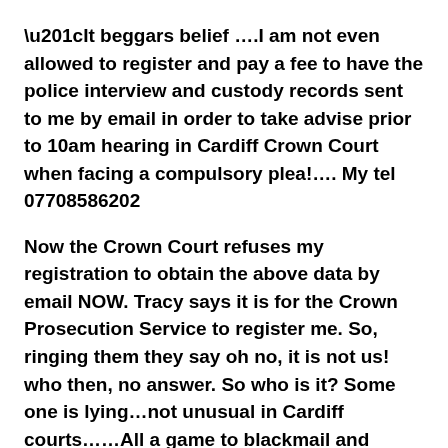“It beggars belief ….I am not even  allowed to register and pay a fee to have the police interview and custody records sent to me by  email in order to take advise prior to 10am hearing in Cardiff Crown Court when facing a compulsory plea!…. My tel 07708586202
Now the Crown Court refuses my registration to obtain the above data by email NOW. Tracy says it is for the Crown Prosecution Service to register me. So, ringing them they say oh no, it is not us! who then, no answer. So who is it? Some one is lying…not unusual in Cardiff courts……All a game to blackmail and cause a deliberately costly adjournment for me by they know, to screw my proposed return next week for my already costly   flight back to Africa for onward flight to Cape Town in my WW2 D-day Piper Cub ….evil little